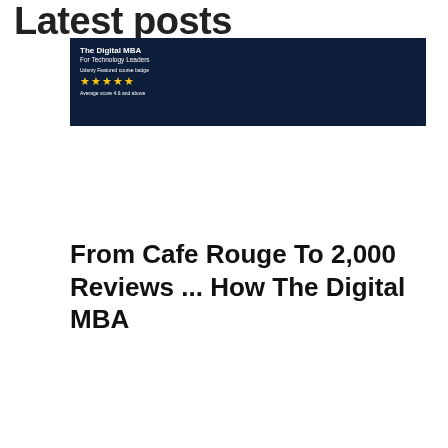Latest posts
[Figure (screenshot): Screenshot of The Digital MBA course page with dark navy background, showing title 'The Digital MBA For Technology Leaders', five yellow stars, and rating text]
From Cafe Rouge To 2,000 Reviews ... How The Digital MBA